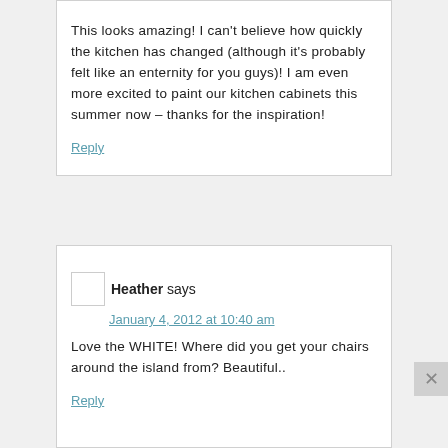This looks amazing! I can't believe how quickly the kitchen has changed (although it's probably felt like an enternity for you guys)! I am even more excited to paint our kitchen cabinets this summer now – thanks for the inspiration!
Reply
Heather says
January 4, 2012 at 10:40 am
Love the WHITE! Where did you get your chairs around the island from? Beautiful..
Reply